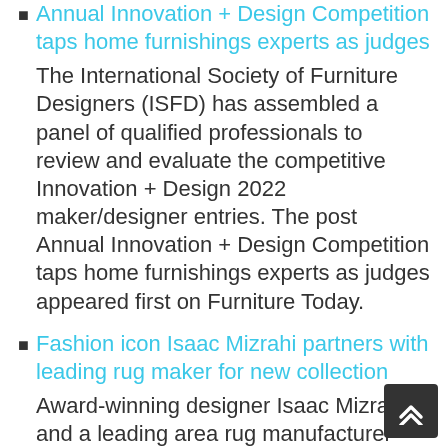Annual Innovation + Design Competition taps home furnishings experts as judges
The International Society of Furniture Designers (ISFD) has assembled a panel of qualified professionals to review and evaluate the competitive Innovation + Design 2022 maker/designer entries. The post Annual Innovation + Design Competition taps home furnishings experts as judges appeared first on Furniture Today.
Fashion icon Isaac Mizrahi partners with leading rug maker for new collection
Award-winning designer Isaac Mizrahi and a leading area rug manufacturer have announced the debut of their